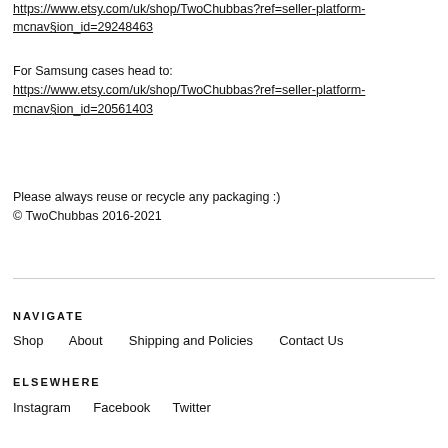https://www.etsy.com/uk/shop/TwoChubbas?ref=seller-platform-mcnav§ion_id=29248463
For Samsung cases head to:
https://www.etsy.com/uk/shop/TwoChubbas?ref=seller-platform-mcnav§ion_id=20561403
Please always reuse or recycle any packaging :)
© TwoChubbas 2016-2021
NAVIGATE
Shop    About    Shipping and Policies    Contact Us
ELSEWHERE
Instagram    Facebook    Twitter